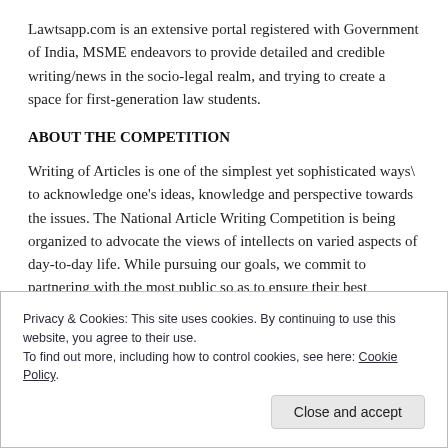Lawtsapp.com is an extensive portal registered with Government of India, MSME endeavors to provide detailed and credible writing/news in the socio-legal realm, and trying to create a space for first-generation law students.
ABOUT THE COMPETITION
Writing of Articles is one of the simplest yet sophisticated ways\ to acknowledge one's ideas, knowledge and perspective towards the issues. The National Article Writing Competition is being organized to advocate the views of intellects on varied aspects of day-to-day life. While pursuing our goals, we commit to partnering with the most public so as to ensure their best interests are served and it will also improve the creation and dissemination of research skill. The Competition
Privacy & Cookies: This site uses cookies. By continuing to use this website, you agree to their use.
To find out more, including how to control cookies, see here: Cookie Policy